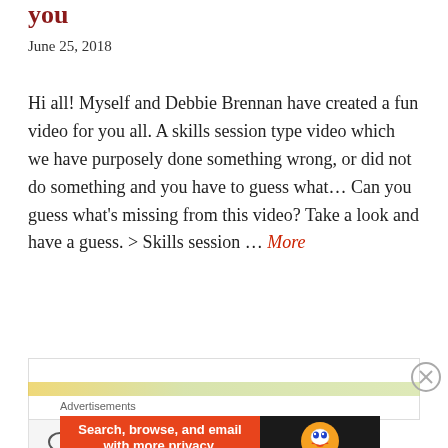you
June 25, 2018
Hi all! Myself and Debbie Brennan have created a fun video for you all. A skills session type video which we have purposely done something wrong, or did not do something and you have to guess what... Can you guess what's missing from this video? Take a look and have a guess. > Skills session ... More
[Figure (other): Comment and link icons in a light grey box]
[Figure (other): Advertisement area with DuckDuckGo banner ad showing 'Search, browse, and email with more privacy. All in One Free App']